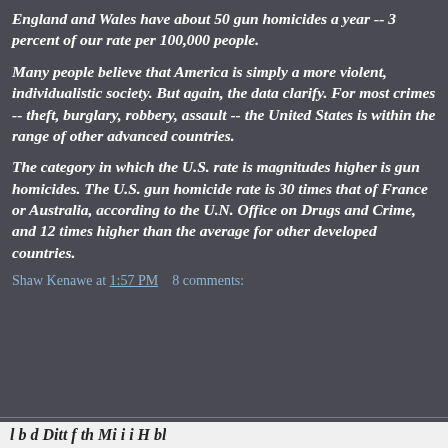England and Wales have about 50 gun homicides a year -- 3 percent of our rate per 100,000 people.
Many people believe that America is simply a more violent, individualistic society. But again, the data clarify. For most crimes -- theft, burglary, robbery, assault -- the United States is within the range of other advanced countries.
The category in which the U.S. rate is magnitudes higher is gun homicides. The U.S. gun homicide rate is 30 times that of France or Australia, according to the U.N. Office on Drugs and Crime, and 12 times higher than the average for other developed countries.
Shaw Kenawe at 1:57 PM   8 comments: